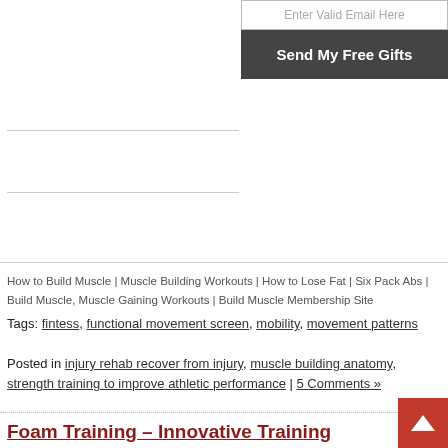Enter Valid Email Here
Send My Free Gifts
How to Build Muscle | Muscle Building Workouts | How to Lose Fat | Six Pack Abs | Build Muscle, Muscle Gaining Workouts | Build Muscle Membership Site
Tags: fintess, functional movement screen, mobility, movement patterns
Posted in injury rehab recover from injury, muscle building anatomy, strength training to improve athletic performance | 5 Comments »
Foam Training – Innovative Training Solutions – Article and Video
Monday, April 6th, 2009